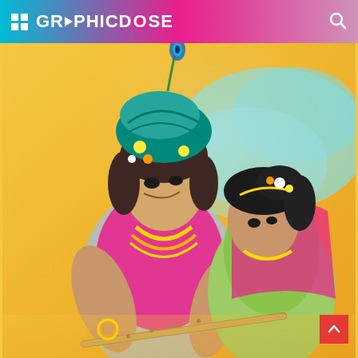GRAPHICDOSE
[Figure (photo): Devotional photo of Lord Krishna and Radha in traditional Indian attire. Krishna wears a teal/green turban with a peacock feather and floral decorations, and gold jewelry. Radha wears a bright green outfit with flowers in her hair and gold jewelry. Both hold a flute together. Background is golden/yellow with teal cloudy mist. The image is styled as a high-quality digital or cinematic photograph.]